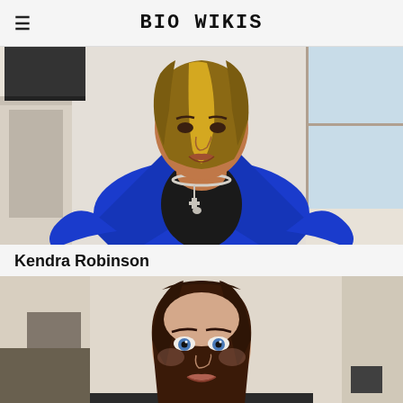BIO WIKIS
[Figure (photo): Woman with blonde highlighted bob haircut wearing a bright blue blazer over black top, standing with hands on hips in a home interior setting with white fireplace and window visible in background. Silver chain necklace and cross pendant visible.]
Kendra Robinson
[Figure (photo): Woman with long dark brown hair and blue eyes, facing camera directly, in a home or office interior setting with a lamp visible in background. Professional headshot style photo.]